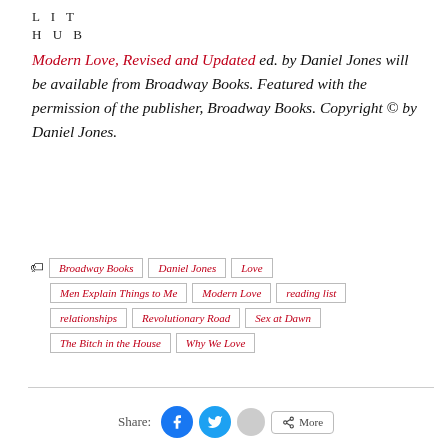LIT
HUB
Modern Love, Revised and Updated ed. by Daniel Jones will be available from Broadway Books. Featured with the permission of the publisher, Broadway Books. Copyright © by Daniel Jones.
Broadway Books
Daniel Jones
Love
Men Explain Things to Me
Modern Love
reading list
relationships
Revolutionary Road
Sex at Dawn
The Bitch in the House
Why We Love
Share: More